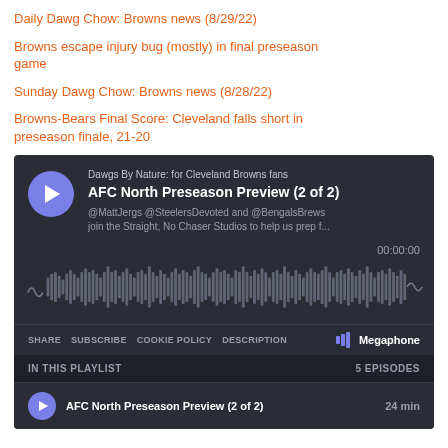Daily Dawg Chow: Browns news (8/29/22)
Browns escape injury bug (mostly) in final preseason game
Sunday Dawg Chow: Browns news (8/28/22)
Browns-Bears Final Score: Cleveland falls short in preseason finale, 21-20
[Figure (screenshot): Podcast player embed (Megaphone) showing 'Dawgs By Nature: for Cleveland Browns fans' podcast, episode 'AFC North Preseason Preview (2 of 2)', with waveform, share/subscribe/cookie policy/description links, timestamp 00:00:00, and playlist showing 5 episodes including AFC North Preseason Preview (2 of 2) at 24 min.]